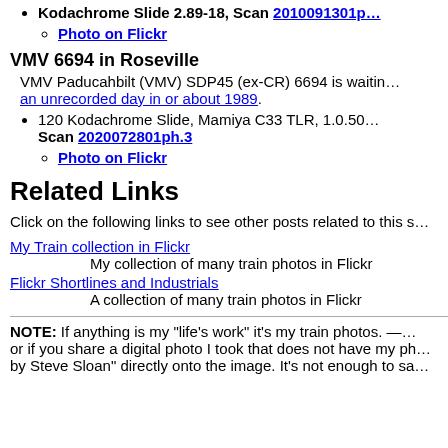Kodachrome Slide 2.89-18, Scan 2010091301p…
Photo on Flickr
VMV 6694 in Roseville
VMV Paducahbilt (VMV) SDP45 (ex-CR) 6694 is waitin… an unrecorded day in or about 1989.
120 Kodachrome Slide, Mamiya C33 TLR, 1.0.50… Scan 2020072801ph.3
Photo on Flickr
Related Links
Click on the following links to see other posts related to this s…
My Train collection in Flickr
My collection of many train photos in Flickr
Flickr Shortlines and Industrials
A collection of many train photos in Flickr
NOTE: If anything is my "life's work" it's my train photos. — … or if you share a digital photo I took that does not have my ph… by Steve Sloan" directly onto the image. It's not enough to sa…